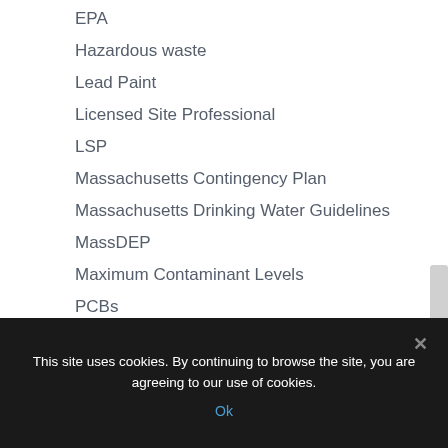EPA
Hazardous waste
Lead Paint
Licensed Site Professional
LSP
Massachusetts Contingency Plan
Massachusetts Drinking Water Guidelines
MassDEP
Maximum Contaminant Levels
PCBs
Phase I and 21E
Phase I Environmental Site Assessment
This site uses cookies. By continuing to browse the site, you are agreeing to our use of cookies.